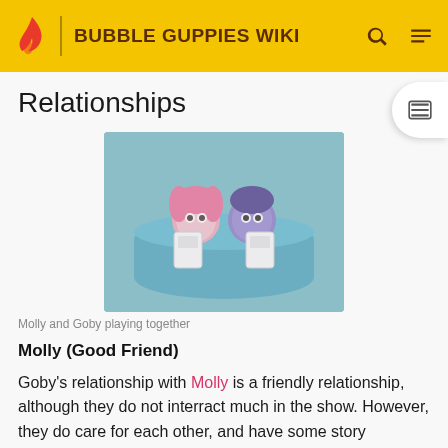BUBBLE GUPPIES WIKI
Relationships
[Figure (photo): Molly and Goby playing together — two animated fish-tail characters sitting in a blue container, holding cards]
Molly and Goby playing together
Molly (Good Friend)
Goby's relationship with Molly is a friendly relationship, although they do not interract much in the show. However, they do care for each other, and have some story segments with each other.
Gil (Best Friend)